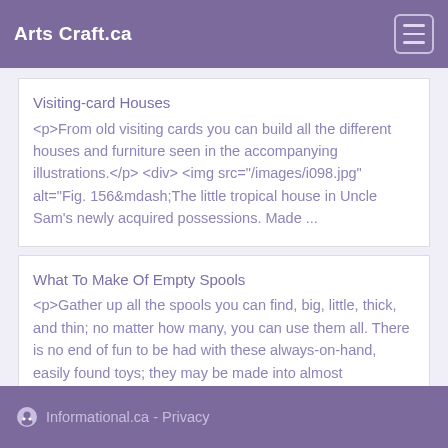Arts Craft.ca
Visiting-card Houses
<p>From old visiting cards you can build all the different houses and furniture seen in the accompanying illustrations.</p> <div> <img src="/images/i098.jpg" alt="Fig. 156&mdash;The little tropical house in Uncle Sam's newly acquired possessions. Made ...
What To Make Of Empty Spools
<p>Gather up all the spools you can find, big, little, thick, and thin; no matter how many, you can use them all. There is no end of fun to be had with these always-on-hand, easily found toys; they may be made into almost everything.</p> <h3>Spool Ho...
Informational.ca - Privacy